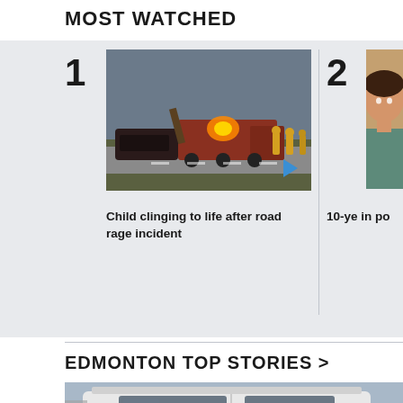MOST WATCHED
[Figure (photo): Accident scene with tow truck and emergency responders at night, vehicle on roadside, flashing lights]
Child clinging to life after road rage incident
[Figure (photo): Partial photo of a young boy, approximately 10 years old, looking to the side]
10-ye... in po...
EDMONTON TOP STORIES >
[Figure (photo): Partial view of white police or emergency vehicle, cropped at bottom of page]